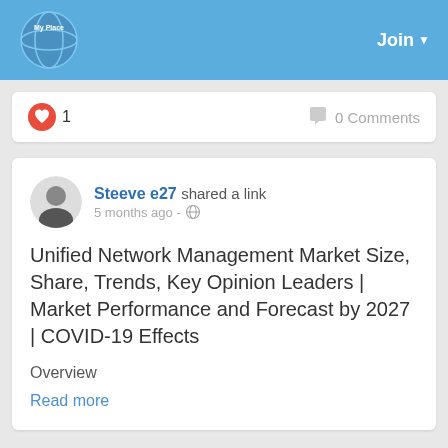My Place | Join
1   0 Comments
Steeve e27 shared a link
5 months ago
Unified Network Management Market Size, Share, Trends, Key Opinion Leaders | Market Performance and Forecast by 2027 | COVID-19 Effects
Overview
Read more